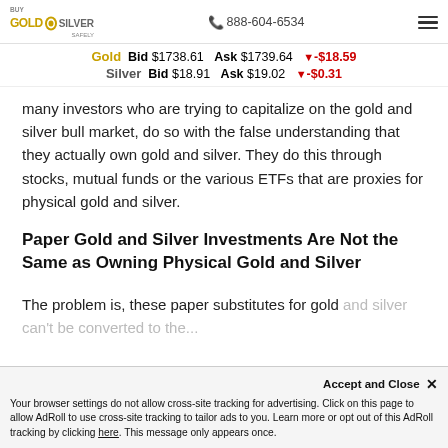Buy Gold & Silver Safely | 888-604-6534
Gold  Bid $1738.61  Ask $1739.64  ▼-$18.59
Silver  Bid $18.91  Ask $19.02  ▼-$0.31
many investors who are trying to capitalize on the gold and silver bull market, do so with the false understanding that they actually own gold and silver. They do this through stocks, mutual funds or the various ETFs that are proxies for physical gold and silver.
Paper Gold and Silver Investments Are Not the Same as Owning Physical Gold and Silver
The problem is, these paper substitutes for gold and silver can't be converted to the...
Accept and Close ✕
Your browser settings do not allow cross-site tracking for advertising. Click on this page to allow AdRoll to use cross-site tracking to tailor ads to you. Learn more or opt out of this AdRoll tracking by clicking here. This message only appears once.